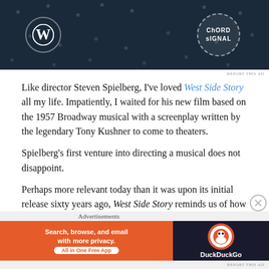[Figure (screenshot): Top advertisement banner with dark navy background showing WordPress logo on left and Chord Signal logo on right]
REPORT THIS AD
Like director Steven Spielberg, I've loved West Side Story all my life. Impatiently, I waited for his new film based on the 1957 Broadway musical with a screenplay written by the legendary Tony Kushner to come to theaters.
Spielberg's first venture into directing a musical does not disappoint.
Perhaps more relevant today than it was upon its initial release sixty years ago, West Side Story reminds us of how deep the divisions can be between unlike minded
Advertisements
[Figure (screenshot): DuckDuckGo advertisement: orange left panel reading Search, browse, and email with more privacy. All in One Free App, dark right panel with DuckDuckGo logo and text]
REPORT THIS AD